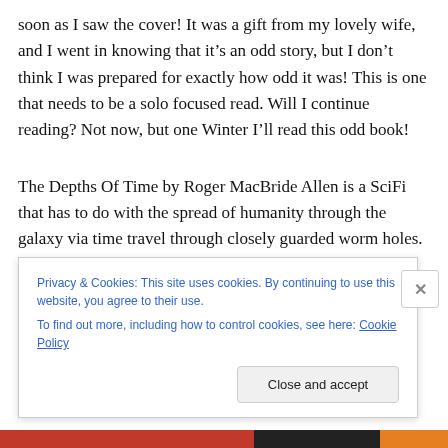soon as I saw the cover! It was a gift from my lovely wife, and I went in knowing that it's an odd story, but I don't think I was prepared for exactly how odd it was! This is one that needs to be a solo focused read. Will I continue reading? Not now, but one Winter I'll read this odd book!
The Depths Of Time by Roger MacBride Allen is a SciFi that has to do with the spread of humanity through the galaxy via time travel through closely guarded worm holes. It starts with a grand premise and then quickly gets lost in the weeds. Way too many little details that slow down the
Privacy & Cookies: This site uses cookies. By continuing to use this website, you agree to their use.
To find out more, including how to control cookies, see here: Cookie Policy